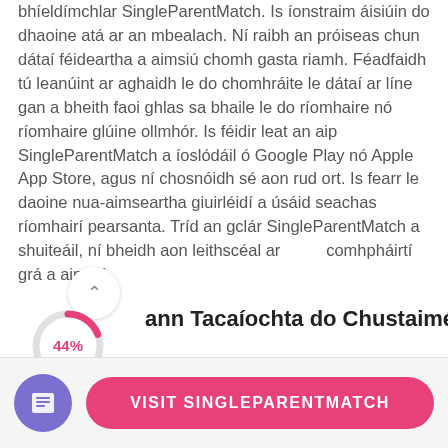bhíeldímchlar SingleParentMatch. Is íonstraim áisiúin do dhaoine atá ar an mbealach. Ní raibh an próiseas chun dátaí féideartha a aimsiú chomh gasta riamh. Féadfaidh tú leanúint ar aghaidh le do chomhráite le dátaí ar líne gan a bheith faoi ghlas sa bhaile le do ríomhaire nó ríomhaire glúine ollmhór. Is féidir leat an aip SingleParentMatch a íoslódáil ó Google Play nó Apple App Store, agus ní chosnóidh sé aon rud ort. Is fearr le daoine nua-aimseartha giuirléidí a úsáid seachas ríomhairí pearsanta. Tríd an gclár SingleParentMatch a shuiteáil, ní bheidh aon leithscéal ar comhpháirtí grá a aimsiú.
[Figure (other): Scroll-up arrow button (circular white button with chevron up icon)]
[Figure (donut-chart): Partial donut/progress circle showing 44% in pink/red color on white background]
ann Tacaíochta do Chustaiméirí
[Figure (other): Green horizontal bar element]
[Figure (other): Bottom navigation bar with purple document icon circle and pink 'VISIT SINGLEPARENTMATCH' button]